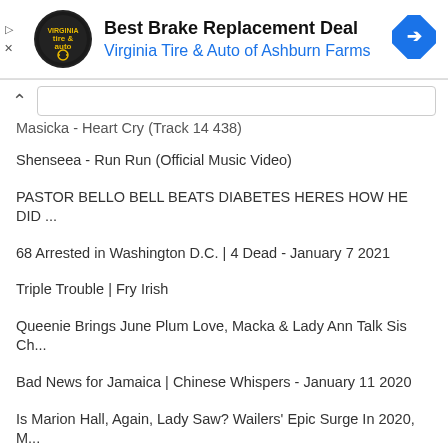[Figure (screenshot): Advertisement banner for Virginia Tire & Auto of Ashburn Farms - Best Brake Replacement Deal]
Best Brake Replacement Deal
Virginia Tire & Auto of Ashburn Farms
Masicka - Heart Cry (Track 14 438)
Shenseea - Run Run (Official Music Video)
PASTOR BELLO BELL BEATS DIABETES HERES HOW HE DID ...
68 Arrested in Washington D.C. | 4 Dead - January 7 2021
Triple Trouble | Fry Irish
Queenie Brings June Plum Love, Macka & Lady Ann Talk Sis Ch...
Bad News for Jamaica | Chinese Whispers - January 11 2020
Is Marion Hall, Again, Lady Saw? Wailers' Epic Surge In 2020, M...
Midnight Toast 2021 | RJRGleaner Group
VIDEO Of "I Octane" Eating PumPum? or $3 Million
Fire In The House | Fry Irish